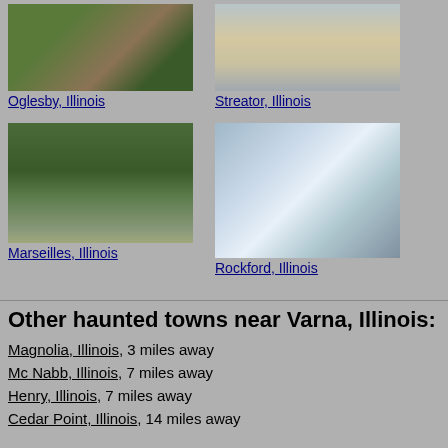[Figure (photo): Photo of person near trees - Oglesby, Illinois]
Oglesby, Illinois
[Figure (photo): Photo of house with shutters - Streator, Illinois]
Streator, Illinois
[Figure (photo): Photo of trees and field - Marseilles, Illinois]
Marseilles, Illinois
[Figure (photo): Bright light/paranormal photo - Rockford, Illinois]
Rockford, Illinois
Other haunted towns near Varna, Illinois:
Magnolia, Illinois, 3 miles away
Mc Nabb, Illinois, 7 miles away
Henry, Illinois, 7 miles away
Cedar Point, Illinois, 14 miles away